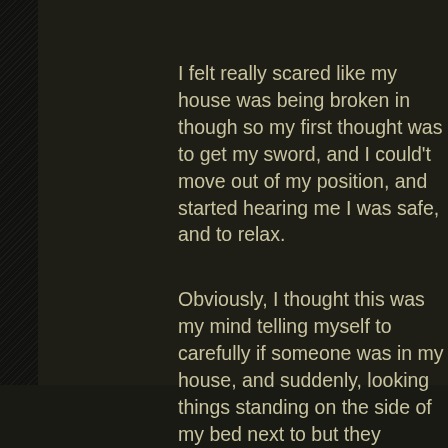I felt really scared like my house was being broken in though so my first thought was to get my sword, and I could't move out of my position, and started hearing me I was safe, and to relax.
Obviously, I thought this was my mind telling myself to carefully if someone was in my house, and suddenly, looking things standing on the side of my bed next to but they seemed like they were members of my family past life or something. Then I realized immediately, th thought again that I was dreaming, or I was having a nightmare I was going to wake up from, and I realized physically real to be a dream. Then I felt myself sayin now", and to my shock, my body lifted from my bed, a